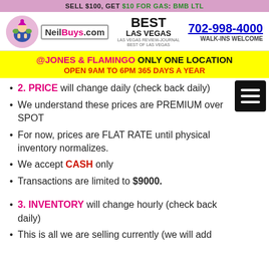SELL $100, GET $10 FOR GAS: BMB LTL
[Figure (logo): NeilBuys.com logo with mascot figure, Best of Las Vegas award badge, phone number 702-998-4000 and Walk-ins Welcome text]
@JONES & FLAMINGO ONLY ONE LOCATION
OPEN 9AM TO 6PM 365 DAYS A YEAR
2. PRICE will change daily (check back daily)
We understand these prices are PREMIUM over SPOT
For now, prices are FLAT RATE until physical inventory normalizes.
We accept CASH only
Transactions are limited to $9000.
3. INVENTORY will change hourly (check back daily)
This is all we are selling currently (we will add